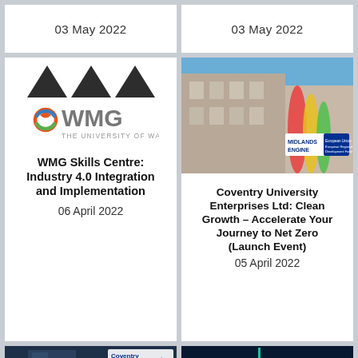03 May 2022
03 May 2022
[Figure (logo): WMG – The University of Warwick logo with dark W triangles and colourful circular emblem]
WMG Skills Centre: Industry 4.0 Integration and Implementation
06 April 2022
[Figure (photo): Photo of colourful building exterior with Midlands Engine and EU logo badges]
Coventry University Enterprises Ltd: Clean Growth – Accelerate Your Journey to Net Zero (Launch Event)
05 April 2022
[Figure (photo): Photo of person in hi-vis with Coventry University logo overlay]
[Figure (photo): Dark navy background with teal accent line and text SUSTAINABLE MOBILITY ENERGISER]